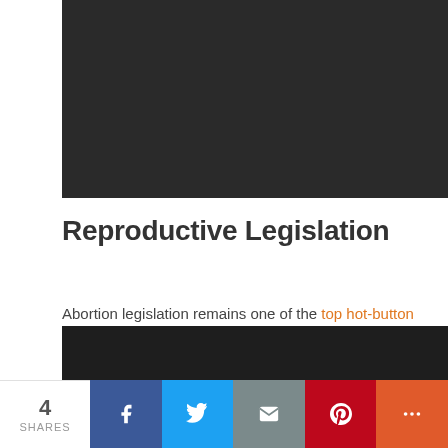[Figure (photo): Dark image placeholder at the top of the article]
Reproductive Legislation
Abortion legislation remains one of the top hot-button issues and students, including Kora Ulness from Black River Falls High School in Wisconsin, have a lot to say on both sides of the debate.
[Figure (photo): Dark image placeholder below the article text]
4 SHARES | Facebook | Twitter | Email | Pinterest | More